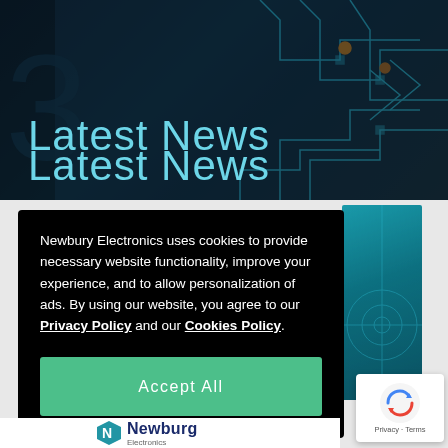[Figure (illustration): Dark teal circuit board hero banner background with glowing blue circuit traces and orange accent dots]
Latest News
Newbury Electronics uses cookies to provide necessary website functionality, improve your experience, and to allow personalization of ads. By using our website, you agree to our Privacy Policy and our Cookies Policy.
Accept All
[Figure (logo): Newbury Electronics logo with teal N icon and dark blue text]
[Figure (other): Google reCAPTCHA badge with rotating arrows icon and Privacy - Terms text]